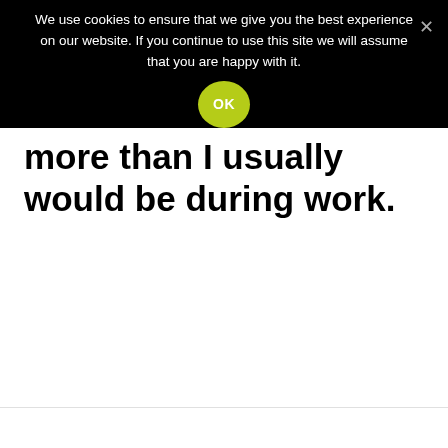We use cookies to ensure that we give you the best experience on our website. If you continue to use this site we will assume that you are happy with it.
more than I usually would be during work.